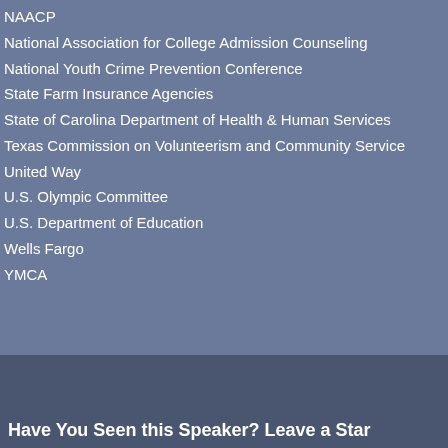NAACP
National Association for College Admission Counseling
National Youth Crime Prevention Conference
State Farm Insurance Agencies
State of Carolina Department of Health & Human Services
Texas Commission on Volunteerism and Community Service
United Way
U.S. Olympic Committee
U.S. Department of Education
Wells Fargo
YMCA
Have You Seen this Speaker? Leave a Star